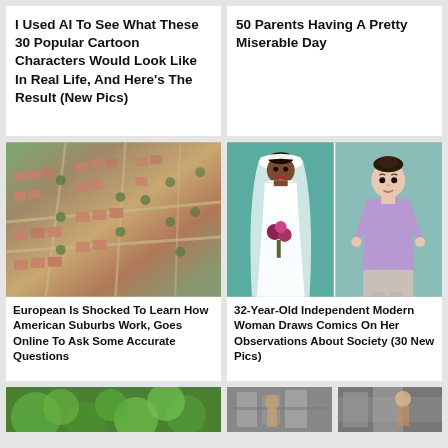I Used AI To See What These 30 Popular Cartoon Characters Would Look Like In Real Life, And Here's The Result (New Pics)
50 Parents Having A Pretty Miserable Day
[Figure (photo): Aerial view of American suburban neighborhood with rows of houses and streets lined with trees]
European Is Shocked To Learn How American Suburbs Work, Goes Online To Ask Some Accurate Questions
[Figure (illustration): Two comic-style illustrations side by side: a Black woman in a white wedding dress with veil holding flowers (left) and a young person in a lavender t-shirt (right)]
32-Year-Old Independent Modern Woman Draws Comics On Her Observations About Society (30 New Pics)
[Figure (photo): Partial image of green trees/nature scene at bottom left]
[Figure (photo): Partial image of people in what appears to be a store or indoor setting at bottom right]